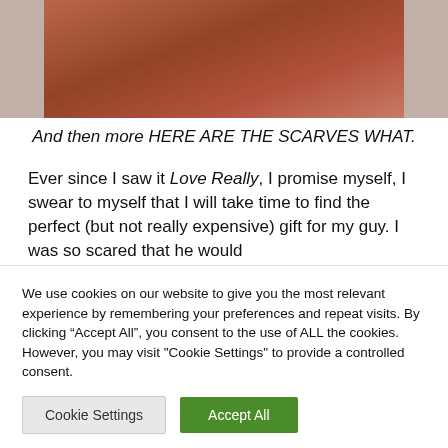[Figure (photo): A photo showing a person in red/orange clothing, partially cropped, with muted warm tones.]
And then more HERE ARE THE SCARVES WHAT.
Ever since I saw it Love Really, I promise myself, I swear to myself that I will take time to find the perfect (but not really expensive) gift for my guy. I was so scared that he would
We use cookies on our website to give you the most relevant experience by remembering your preferences and repeat visits. By clicking “Accept All”, you consent to the use of ALL the cookies. However, you may visit "Cookie Settings" to provide a controlled consent.